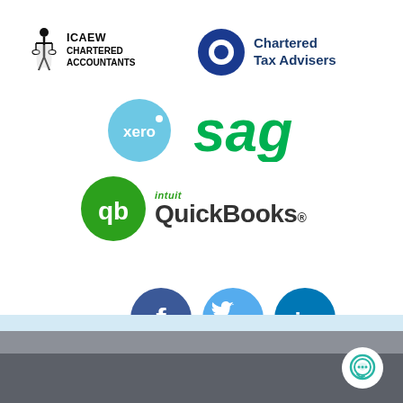[Figure (logo): ICAEW Chartered Accountants logo with figure holding scales]
[Figure (logo): Chartered Tax Advisers logo with dark blue circle]
[Figure (logo): Xero logo - light blue circle with xero text]
[Figure (logo): Sage logo - green stylized text]
[Figure (logo): Intuit QuickBooks logo - green circle with qb and QuickBooks text]
[Figure (logo): Facebook social media icon - dark blue circle with f]
[Figure (logo): Twitter social media icon - light blue circle with bird]
[Figure (logo): LinkedIn social media icon - dark blue circle with in]
[Figure (illustration): Chat/message bubble icon in teal on white circle, positioned in bottom right corner]